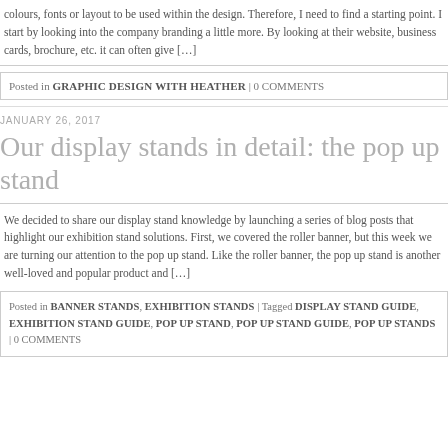colours, fonts or layout to be used within the design. Therefore, I need to find a starting point. I start by looking into the company branding a little more. By looking at their website, business cards, brochure, etc. it can often give [...]
Posted in GRAPHIC DESIGN WITH HEATHER | 0 COMMENTS
JANUARY 26, 2017
Our display stands in detail: the pop up stand
We decided to share our display stand knowledge by launching a series of blog posts that highlight our exhibition stand solutions. First, we covered the roller banner, but this week we are turning our attention to the pop up stand. Like the roller banner, the pop up stand is another well-loved and popular product and [...]
Posted in BANNER STANDS, EXHIBITION STANDS | Tagged DISPLAY STAND GUIDE, EXHIBITION STAND GUIDE, POP UP STAND, POP UP STAND GUIDE, POP UP STANDS | 0 COMMENTS